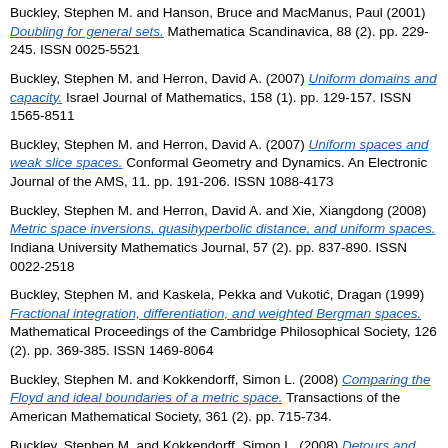Buckley, Stephen M. and Hanson, Bruce and MacManus, Paul (2001) Doubling for general sets. Mathematica Scandinavica, 88 (2). pp. 229-245. ISSN 0025-5521
Buckley, Stephen M. and Herron, David A. (2007) Uniform domains and capacity. Israel Journal of Mathematics, 158 (1). pp. 129-157. ISSN 1565-8511
Buckley, Stephen M. and Herron, David A. (2007) Uniform spaces and weak slice spaces. Conformal Geometry and Dynamics. An Electronic Journal of the AMS, 11. pp. 191-206. ISSN 1088-4173
Buckley, Stephen M. and Herron, David A. and Xie, Xiangdong (2008) Metric space inversions, quasihyperbolic distance, and uniform spaces. Indiana University Mathematics Journal, 57 (2). pp. 837-890. ISSN 0022-2518
Buckley, Stephen M. and Kaskela, Pekka and Vukotić, Dragan (1999) Fractional integration, differentiation, and weighted Bergman spaces. Mathematical Proceedings of the Cambridge Philosophical Society, 126 (2). pp. 369-385. ISSN 1469-8064
Buckley, Stephen M. and Kokkendorff, Simon L. (2008) Comparing the Floyd and ideal boundaries of a metric space. Transactions of the American Mathematical Society, 361 (2). pp. 715-734.
Buckley, Stephen M. and Kokkendorff, Simon L. (2008) Detours and Gromov hyperbolicity. International Journal of Pure and Applied Mathematics - IJPAM, 47. pp. 313-323. ISSN